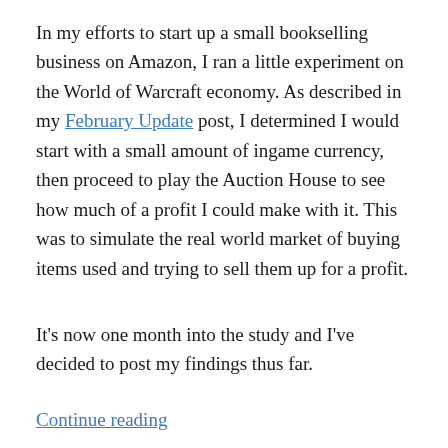In my efforts to start up a small bookselling business on Amazon, I ran a little experiment on the World of Warcraft economy. As described in my February Update post, I determined I would start with a small amount of ingame currency, then proceed to play the Auction House to see how much of a profit I could make with it. This was to simulate the real world market of buying items used and trying to sell them up for a profit.
It's now one month into the study and I've decided to post my findings thus far.
Continue reading